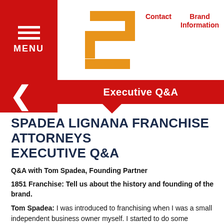[Figure (logo): Spadea Lignana logo - orange/gold stepped S-shape icon]
Contact   Brand Information
Executive Q&A
SPADEA LIGNANA FRANCHISE ATTORNEYS EXECUTIVE Q&A
Q&A with Tom Spadea, Founding Partner
1851 Franchise: Tell us about the history and founding of the brand.
Tom Spadea: I was introduced to franchising when I was a small independent business owner myself. I started to do some business broker deals on the side and then became a franchise broker in the early 2000s. I subsequently joined Rita's Italian Ice as a sales person, eventually working my way up to the head of franchise